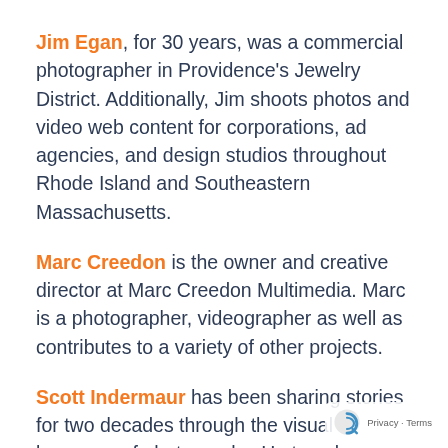Jim Egan, for 30 years, was a commercial photographer in Providence's Jewelry District. Additionally, Jim shoots photos and video web content for corporations, ad agencies, and design studios throughout Rhode Island and Southeastern Massachusetts.
Marc Creedon is the owner and creative director at Marc Creedon Multimedia. Marc is a photographer, videographer as well as contributes to a variety of other projects.
Scott Indermaur has been sharing stories for two decades through the visual language of photography. He travels nationally and